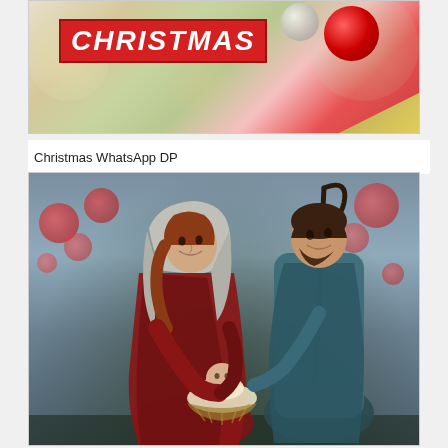[Figure (photo): Christmas themed photo with red bold italic 'CHRISTMAS' text banner on left, red and silver ornaments on right against bokeh background of Christmas tree decorations]
Christmas WhatsApp DP
[Figure (photo): Nativity scene figurines of Mary holding baby Jesus with Joseph standing beside her holding a shepherd's staff, with blurred red berries and green foliage in background]